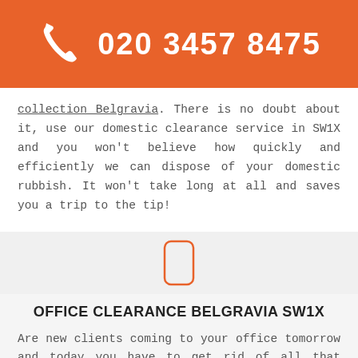020 3457 8475
collection Belgravia. There is no doubt about it, use our domestic clearance service in SW1X and you won't believe how quickly and efficiently we can dispose of your domestic rubbish. It won't take long at all and saves you a trip to the tip!
[Figure (illustration): Orange outlined rounded rectangle icon resembling a mobile phone]
OFFICE CLEARANCE BELGRAVIA SW1X
Are new clients coming to your office tomorrow and today you have to get rid of all that office junk you've accumulated rather quickly over time? Instead of wasting your time, leave it to us to carry out your rubbish collection in Belgravia, SW1X and in literally no time at all, our rubbish collectors will